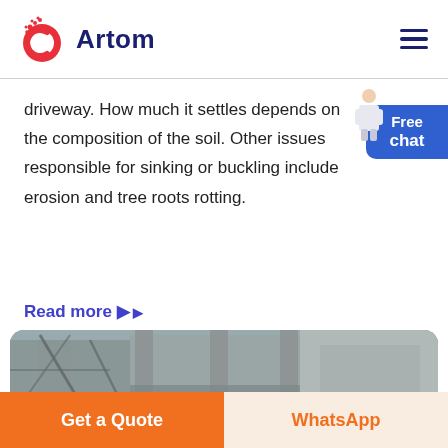Artom
driveway. How much it settles depends on the composition of the soil. Other issues responsible for sinking or buckling include erosion and tree roots rotting.
Read more ▶
[Figure (photo): Construction photo showing a concrete building frame with scaffolding and metal supports]
Get a Quote
WhatsApp